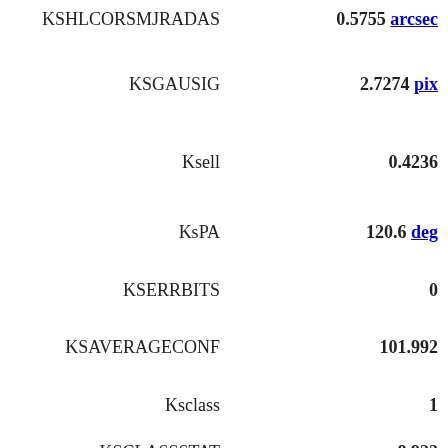| Key | Value |
| --- | --- |
| KSHLCORSMJRADAS | 0.5755 arcsec |
| KSGAUSIG | 2.7274 pix |
| Ksell | 0.4236 |
| KsPA | 120.6 deg |
| KSERRBITS | 0 |
| KSAVERAGECONF | 101.992 |
| Ksclass | 1 |
| KSCLASSSTAT | 8.922 |